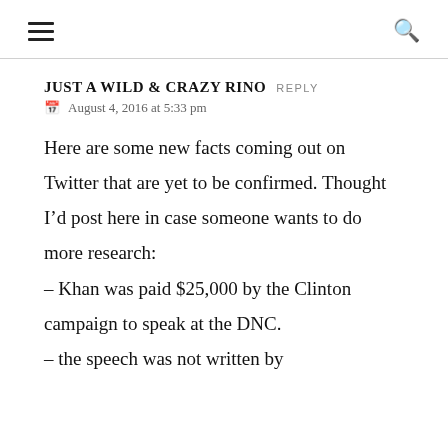≡  🔍
JUST A WILD & CRAZY RINO  REPLY
August 4, 2016 at 5:33 pm
Here are some new facts coming out on Twitter that are yet to be confirmed. Thought I'd post here in case someone wants to do more research:
– Khan was paid $25,000 by the Clinton campaign to speak at the DNC.
– the speech was not written by